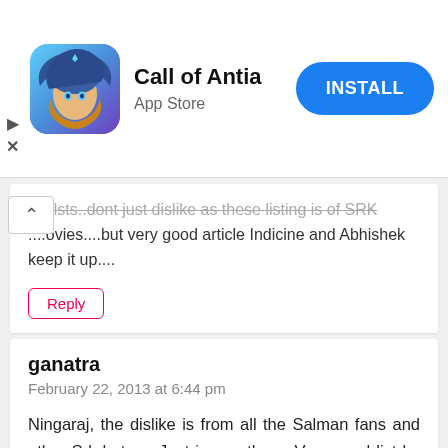[Figure (screenshot): App Store advertisement banner for 'Call of Antia' game with app icon, title, App Store label, and blue INSTALL button]
...ynelsts..dont just dislike as these listing is of SRK ...ovies....but very good article Indicine and Abhishek keep it up....
Reply
ganatra
February 22, 2013 at 6:44 pm
Ningaraj, the dislike is from all the Salman fans and other Srk haters. Just ignore them. Very good list by Abhishek, although my list will be slightly different. I will check for a list of all SRK songs.. after that will come back and post my list. He has way too many good songs to remember.